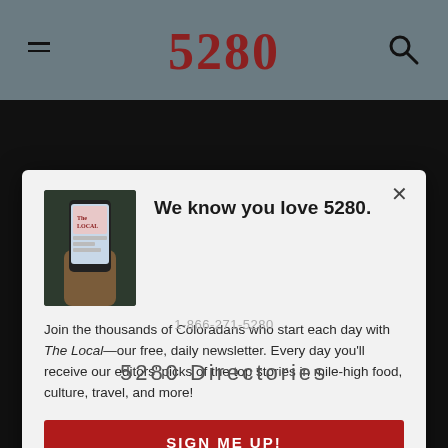5280
We know you love 5280.
Join the thousands of Coloradans who start each day with The Local—our free, daily newsletter. Every day you'll receive our editors' picks of the top stories in mile-high food, culture, travel, and more!
SIGN ME UP!
1-866-271-5280
5280 Directories